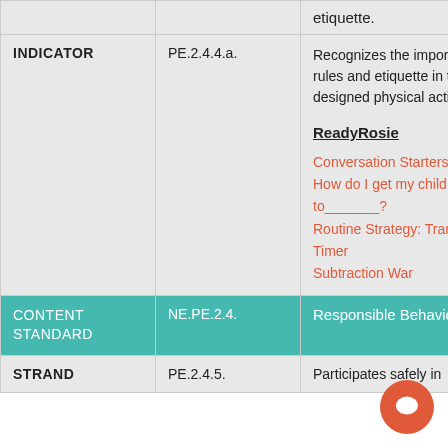|  |  |  |
| --- | --- | --- |
|  |  | etiquette. |
| INDICATOR | PE.2.4.4.a. | Recognizes the importance of rules and etiquette in teacher-designed physical activities. (E)

ReadyRosie
Conversation Starters
How do I get my child to_______?
Routine Strategy: Transition Timer
Subtraction War |
| CONTENT STANDARD | NE.PE.2.4. | Responsible Behavior |
| STRAND | PE.2.4.5. | Participates safely in |